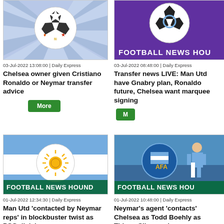[Figure (photo): Football News Hound logo with colorful soccer ball on blue striped background]
03-Jul-2022 13:08:00 | Daily Express
Chelsea owner given Cristiano Ronaldo or Neymar transfer advice
More
[Figure (photo): Football News Hound logo with soccer ball on purple background, text: FOOTBALL NEWS HOU...]
03-Jul-2022 08:48:00 | Daily Express
Transfer news LIVE: Man Utd have Gnabry plan, Ronaldo future, Chelsea want marquee signing
M...
[Figure (photo): Football News Hound image with Argentina flag soccer ball, text: FOOTBALL NEWS HOUND]
01-Jul-2022 12:34:30 | Daily Express
Man Utd 'contacted by Neymar reps' in blockbuster twist as PSG division comes
[Figure (photo): Football News Hound image with Messi and AFA logo, text: FOOTBALL NEWS HOU...]
01-Jul-2022 10:48:00 | Daily Express
Neymar's agent 'contacts' Chelsea as Todd Boehly as Thiago Silva works o